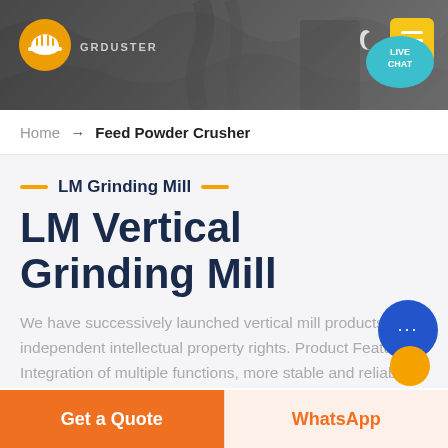[Figure (screenshot): Website header banner with dark industrial background showing machinery, a yellow hardhat logo on the left, a moon/dark-mode icon and yellow hamburger menu button on the right, and a teal 'LIVE CHAT' speech bubble in the lower right of the banner.]
Home → Feed Powder Crusher
LM Grinding Mill
LM Vertical Grinding Mill
We have successively launched vertical mill products with independent intellectual property rights. Product Featu... Integration of multiple functions, more stable and reliab...
Get a Quote
WhatsApp